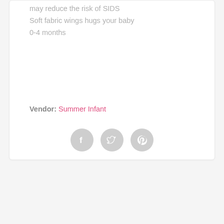may reduce the risk of SIDS
Soft fabric wings hugs your baby
0-4 months
Vendor: Summer Infant
[Figure (illustration): Three social media sharing icons (Facebook, Twitter, Pinterest) displayed as light grey circles with white logos]